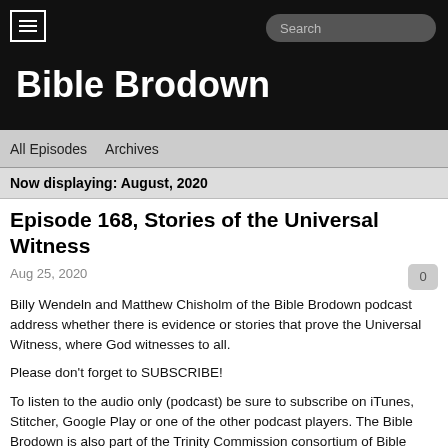Bible Brodown
All Episodes   Archives
Now displaying: August, 2020
Episode 168, Stories of the Universal Witness
Aug 25, 2020
Billy Wendeln and Matthew Chisholm of the Bible Brodown podcast address whether there is evidence or stories that prove the Universal Witness, where God witnesses to all.
Please don't forget to SUBSCRIBE!
To listen to the audio only (podcast) be sure to subscribe on iTunes, Stitcher, Google Play or one of the other podcast players. The Bible Brodown is also part of the Trinity Commission consortium of Bible podcasts. Learn more here: